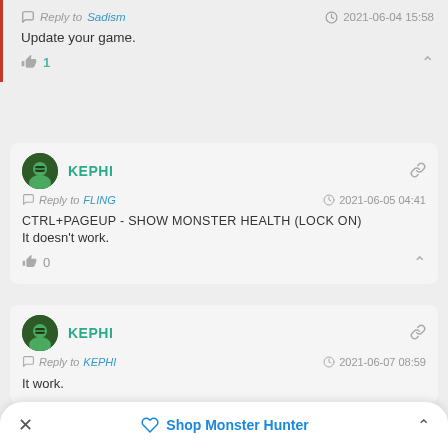Reply to Sadism   2021-06-04 15:58
Update your game.
👍 1
KEPHI
Reply to FLING   2021-06-05 04:41
CTRL+PAGEUP - SHOW MONSTER HEALTH (LOCK ON)
It doesn't work.
👍 0
KEPHI
Reply to KEPHI   2021-06-07 08:59
It work.
Shop Monster Hunter